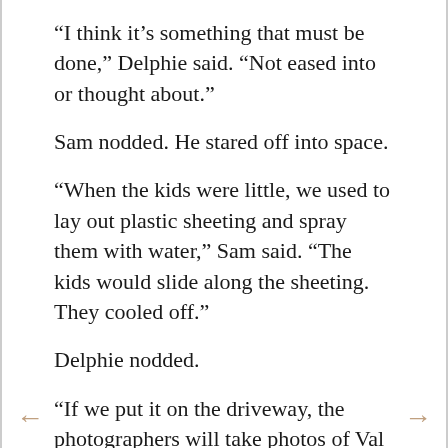“I think it’s something that must be done,” Delphie said. “Not eased into or thought about.”
Sam nodded. He stared off into space.
“When the kids were little, we used to lay out plastic sheeting and spray them with water,” Sam said. “The kids would slide along the sheeting. They cooled off.”
Delphie nodded.
“If we put it on the driveway, the photographers will take photos of Val and Grace,” Delphie said.
“We have to put it here,” Sam said. He gestured to the area of ten-foot-wide